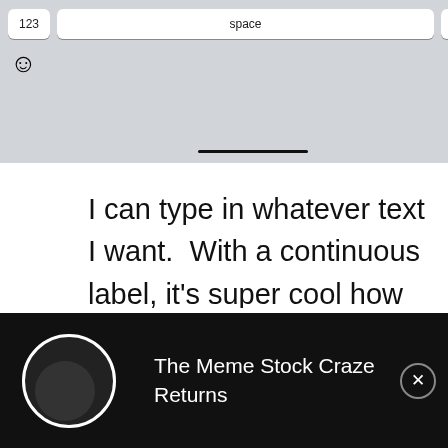[Figure (screenshot): Top portion of a mobile keyboard screenshot showing '123', 'space', 'return' keys, emoji and microphone icons, with formatting buttons (Bold, Italic, Underline) visible to the right.]
I can type in whatever text I want.  With a continuous label, it's super cool how the app scales the label horizontally to be however long my text is.  This is definitely a huge advantage that the L1 has over label makers that only use labels of a fixed size:  Sometimes I just need a longer label with more words and/or bigger letters.  In the text screen I can also increase the font size, change the alignment, and add
[Figure (screenshot): Black advertisement bar at the bottom with a white circle/thumbnail on the left and text 'The Meme Stock Craze Returns' with a close button (X) on the right.]